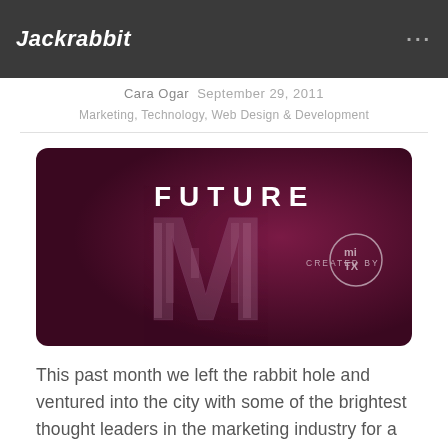Jackrabbit
Debate
Cara Ogar   September 29, 2011
Marketing, Technology, Web Design & Development
[Figure (illustration): FutureM logo on dark maroon/purple background with large letter M made of text and 'CREATED BY miTX' text]
This past month we left the rabbit hole and ventured into the city with some of the brightest thought leaders in the marketing industry for a week long conference called FutureM.  Tuning in to the pulse